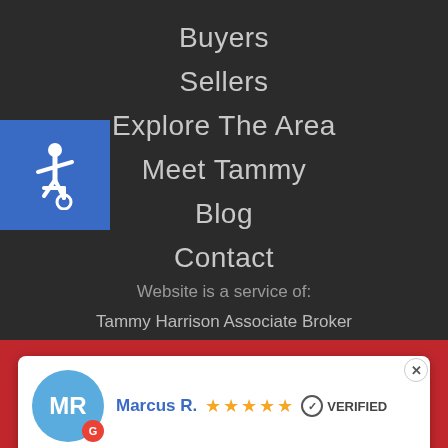[Figure (illustration): Wheelchair accessibility icon, white figure on blue square background]
Buyers
Sellers
Explore The Area
Meet Tammy
Blog
Contact
Website is a service of:
Tammy Harrison Associate Broker
Marcus R. ★★★★★ ✓ VERIFIED
Tammy is very knowledgeable, easy to talk to, and a great person to work with. Would recommend. More